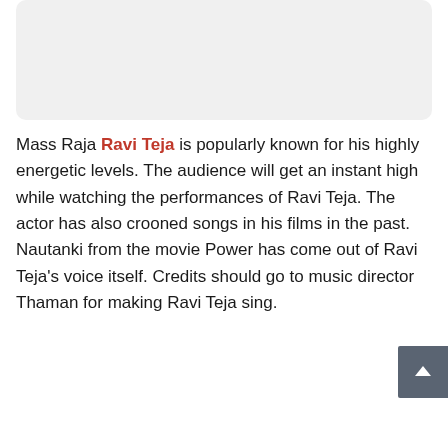[Figure (other): Gray rounded rectangle placeholder image area]
Mass Raja Ravi Teja is popularly known for his highly energetic levels. The audience will get an instant high while watching the performances of Ravi Teja. The actor has also crooned songs in his films in the past. Nautanki from the movie Power has come out of Ravi Teja's voice itself. Credits should go to music director Thaman for making Ravi Teja sing.